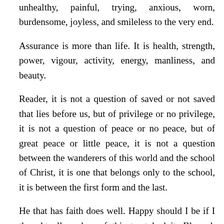unhealthy, painful, trying, anxious, worn, burdensome, joyless, and smileless to the very end.
Assurance is more than life. It is health, strength, power, vigour, activity, energy, manliness, and beauty.
Reader, it is not a question of saved or not saved that lies before us, but of privilege or no privilege, it is not a question of peace or no peace, but of great peace or little peace, it is not a question between the wanderers of this world and the school of Christ, it is one that belongs only to the school, it is between the first form and the last.
He that has faith does well. Happy should I be if I thought all readers of this tract had it. Blessed, thrice blessed are they that believe: they are safe; they are washed; they are justified. They are beyond the power of hell. Satan, with all his malice, shall never pluck them out of Christ's hands. But he that has